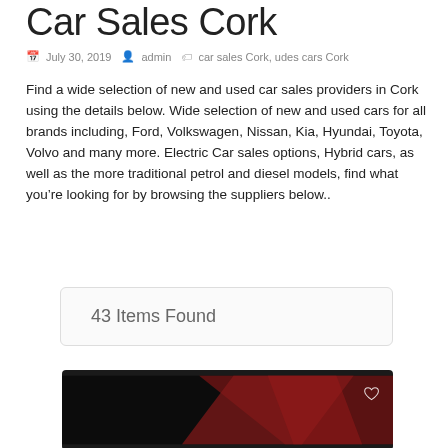Car Sales Cork
July 30, 2019   admin   car sales Cork, udes cars Cork
Find a wide selection of new and used car sales providers in Cork using the details below. Wide selection of new and used cars for all brands including, Ford, Volkswagen, Nissan, Kia, Hyundai, Toyota, Volvo and many more. Electric Car sales options, Hybrid cars, as well as the more traditional petrol and diesel models, find what you’re looking for by browsing the suppliers below..
43 Items Found
[Figure (photo): Dark image showing a car interior or exterior, predominantly black and red tones with a heart/like icon in the upper right corner]